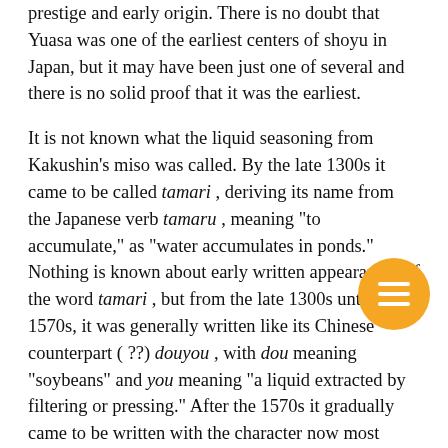prestige and early origin. There is no doubt that Yuasa was one of the earliest centers of shoyu in Japan, but it may have been just one of several and there is no solid proof that it was the earliest.
It is not known what the liquid seasoning from Kakushin's miso was called. By the late 1300s it came to be called tamari, deriving its name from the Japanese verb tamaru, meaning "to accumulate," as "water accumulates in ponds." Nothing is known about early written appearances of the word tamari, but from the late 1300s until the 1570s, it was generally written like its Chinese counterpart ( ??) douyou, with dou meaning "soybeans" and you meaning "a liquid extracted by filtering or pressing." After the 1570s it gradually came to be written with the character now most widely used ( ??), also pronounced tamari. Since this term is rarely seen in the literature of this period, the product was probably not yet widely used.
It is said that by 1260 this "tamari" was being produced for home consumption in the towns of Yuasa and Hiromura, both near Kakushin's temple and both blessed with a